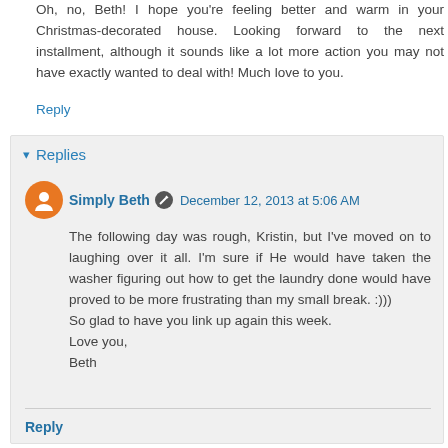Oh, no, Beth! I hope you're feeling better and warm in your Christmas-decorated house. Looking forward to the next installment, although it sounds like a lot more action you may not have exactly wanted to deal with! Much love to you.
Reply
Replies
Simply Beth  December 12, 2013 at 5:06 AM
The following day was rough, Kristin, but I've moved on to laughing over it all. I'm sure if He would have taken the washer figuring out how to get the laundry done would have proved to be more frustrating than my small break. :)))
So glad to have you link up again this week.
Love you,
Beth
Reply